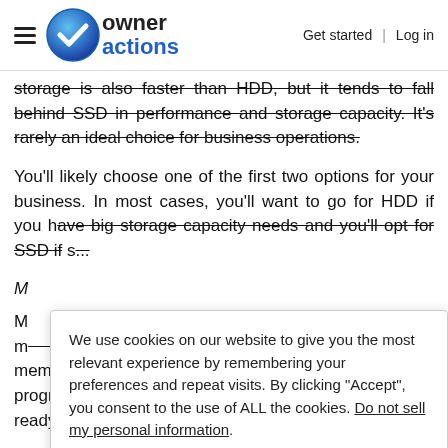owner actions | Get started | Log in
storage is also faster than HDD, but it tends to fall behind SSD in performance and storage capacity. It's rarely an ideal choice for business operations.
You'll likely choose one of the first two options for your business. In most cases, you'll want to go for HDD if you have big storage capacity needs and you'll opt for SSD if s...
M...
M... n m... of memory, you and your teams can run the various programs and applications you need to have at the ready
We use cookies on our website to give you the most relevant experience by remembering your preferences and repeat visits. By clicking "Accept", you consent to the use of ALL the cookies. Do not sell my personal information.